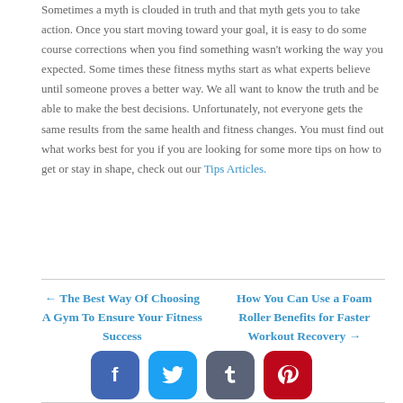Sometimes a myth is clouded in truth and that myth gets you to take action. Once you start moving toward your goal, it is easy to do some course corrections when you find something wasn't working the way you expected. Some times these fitness myths start as what experts believe until someone proves a better way. We all want to know the truth and be able to make the best decisions. Unfortunately, not everyone gets the same results from the same health and fitness changes. You must find out what works best for you if you are looking for some more tips on how to get or stay in shape, check out our Tips Articles.
← The Best Way Of Choosing A Gym To Ensure Your Fitness Success
How You Can Use a Foam Roller Benefits for Faster Workout Recovery →
[Figure (other): Four social media sharing icons: Facebook (blue rounded square), Twitter (light blue rounded square), Tumblr (dark grey rounded square), Pinterest (red rounded square)]